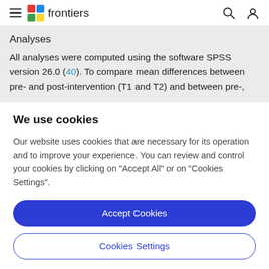frontiers
Analyses
All analyses were computed using the software SPSS version 26.0 (40). To compare mean differences between pre- and post-intervention (T1 and T2) and between pre-,
We use cookies
Our website uses cookies that are necessary for its operation and to improve your experience. You can review and control your cookies by clicking on "Accept All" or on "Cookies Settings".
Accept Cookies
Cookies Settings